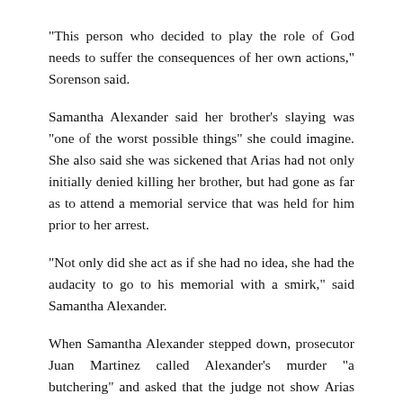"This person who decided to play the role of God needs to suffer the consequences of her own actions," Sorenson said.
Samantha Alexander said her brother's slaying was "one of the worst possible things" she could imagine. She also said she was sickened that Arias had not only initially denied killing her brother, but had gone as far as to attend a memorial service that was held for him prior to her arrest.
"Not only did she act as if she had no idea, she had the audacity to go to his memorial with a smirk," said Samantha Alexander.
When Samantha Alexander stepped down, prosecutor Juan Martinez called Alexander's murder "a butchering" and asked that the judge not show Arias leniency.
Arias' mother, Sandy Arias, asked the court during